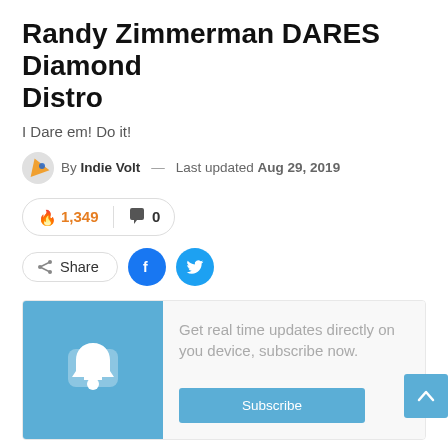Randy Zimmerman DARES Diamond Distro
I Dare em! Do it!
By Indie Volt — Last updated Aug 29, 2019
1,349 views · 0 comments
Share (Facebook, Twitter)
[Figure (other): Subscribe box with bell notification icon on blue background and text: Get real time updates directly on you device, subscribe now. With a Subscribe button.]
This morning during the Indie Volt Breakfast Buzz on Youtube Randy Zimmerman (Flint Comix, Arrow Comics,